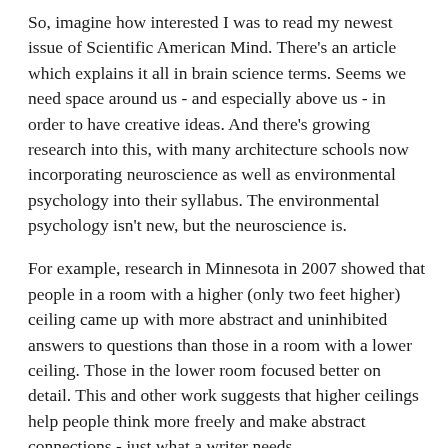So, imagine how interested I was to read my newest issue of Scientific American Mind. There's an article which explains it all in brain science terms. Seems we need space around us - and especially above us - in order to have creative ideas. And there's growing research into this, with many architecture schools now incorporating neuroscience as well as environmental psychology into their syllabus. The environmental psychology isn't new, but the neuroscience is.
For example, research in Minnesota in 2007 showed that people in a room with a higher (only two feet higher) ceiling came up with more abstract and uninhibited answers to questions than those in a room with a lower ceiling. Those in the lower room focused better on detail. This and other work suggests that higher ceilings help people think more freely and make abstract connections - just what a writer needs.
The article didn't go to the logical conclusion - that outside is the biggest ceiling of all - but it did say that when we have scenery with greenery and nature we think better and differently. Research in 2000 followed some families who moved house, and looked at the attention ability of the children: those surrounded by more